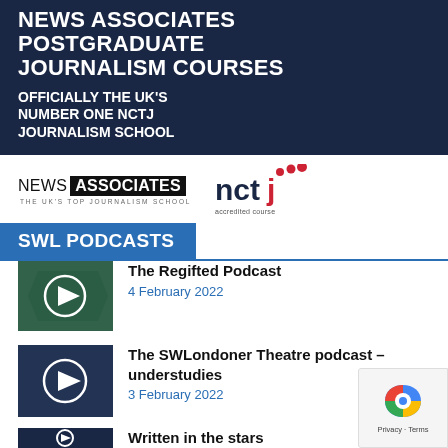[Figure (infographic): Dark navy blue advertisement banner for News Associates Postgraduate Journalism Courses with white bold text reading 'NEWS ASSOCIATES POSTGRADUATE JOURNALISM COURSES' and subtitle 'OFFICIALLY THE UK'S NUMBER ONE NCTJ JOURNALISM SCHOOL']
[Figure (logo): News Associates logo with black box around ASSOCIATES text and tagline 'THE UK'S TOP JOURNALISM SCHOOL', alongside NCTJ accredited course logo with red dots]
SWL PODCASTS
[Figure (photo): Thumbnail image with play button circle for The Regifted Podcast]
The Regifted Podcast
4 February 2022
[Figure (photo): Thumbnail image with play button circle for The SWLondoner Theatre podcast – understudies]
The SWLondoner Theatre podcast – understudies
3 February 2022
[Figure (photo): Thumbnail image with play button circle for Written in the stars podcast]
Written in the stars